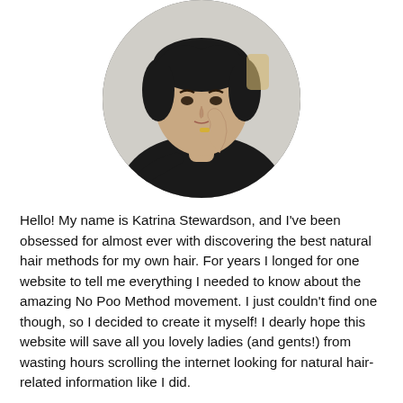[Figure (photo): Circular portrait photo of a woman with dark hair wearing a black top, finger raised to her lips in a 'shh' gesture, with a ring on her finger. Indoor background.]
Hello! My name is Katrina Stewardson, and I've been obsessed for almost ever with discovering the best natural hair methods for my own hair. For years I longed for one website to tell me everything I needed to know about the amazing No Poo Method movement. I just couldn't find one though, so I decided to create it myself! I dearly hope this website will save all you lovely ladies (and gents!) from wasting hours scrolling the internet looking for natural hair-related information like I did.
FIND OUT MORE!